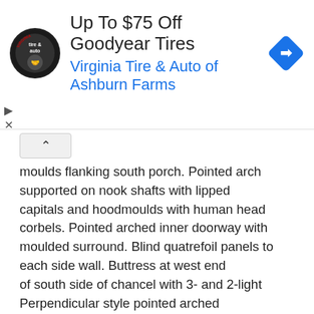[Figure (screenshot): Advertisement banner for Virginia Tire & Auto of Ashburn Farms promoting Up To $75 Off Goodyear Tires, with logo, title, subtitle, and a blue diamond navigation icon.]
moulds flanking south porch. Pointed arch supported on nook shafts with lipped capitals and hoodmoulds with human head corbels. Pointed arched inner doorway with moulded surround. Blind quatrefoil panels to each side wall. Buttress at west end of south side of chancel with 3- and 2-light Perpendicular style pointed arched windows with hoodmoulds flanking forked pedimented buttress with offsets breaking around priests doorway with wave-moulded surround and plank door. Pointed arched each window of 3-lights with hoodmould C15 north aisle east window with labelled stops to pointed arched hoodmould. North side of north aisle